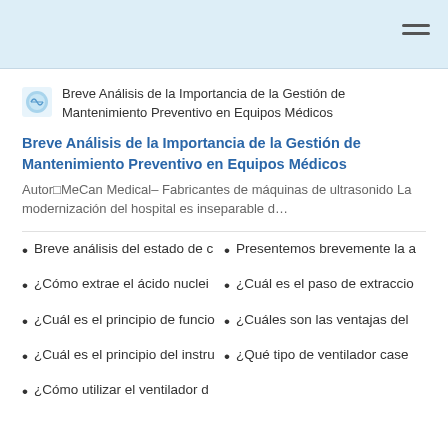Breve Análisis de la Importancia de la Gestión de Mantenimiento Preventivo en Equipos Médicos
Breve Análisis de la Importancia de la Gestión de Mantenimiento Preventivo en Equipos Médicos
Autor□MeCan Medical– Fabricantes de máquinas de ultrasonido La modernización del hospital es inseparable d…
Breve análisis del estado de c
Presentemos brevemente la a
¿Cómo extrae el ácido nuclei
¿Cuál es el paso de extraccio
¿Cuál es el principio de funcio
¿Cuáles son las ventajas del
¿Cuál es el principio del instru
¿Qué tipo de ventilador case
¿Cómo utilizar el ventilador d